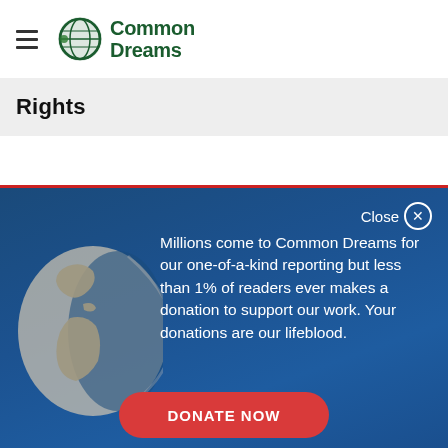Common Dreams
Rights
Millions come to Common Dreams for our one-of-a-kind reporting but less than 1% of readers ever makes a donation to support our work. Your donations are our lifeblood.
DONATE NOW